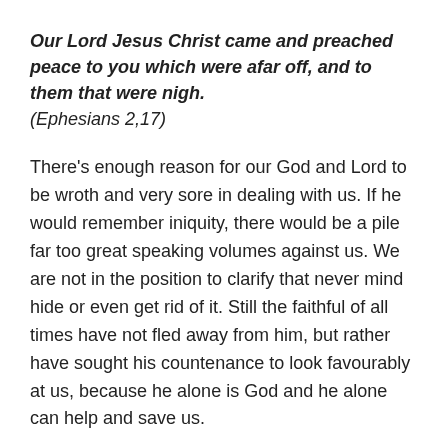Our Lord Jesus Christ came and preached peace to you which were afar off, and to them that were nigh. (Ephesians 2,17)
There's enough reason for our God and Lord to be wroth and very sore in dealing with us. If he would remember iniquity, there would be a pile far too great speaking volumes against us. We are not in the position to clarify that never mind hide or even get rid of it. Still the faithful of all times have not fled away from him, but rather have sought his countenance to look favourably at us, because he alone is God and he alone can help and save us.
In coming before God with supplications and prayer, they did not point out their own merits or worthiness for they knew it was worthless and even non-existent. It didn't hold